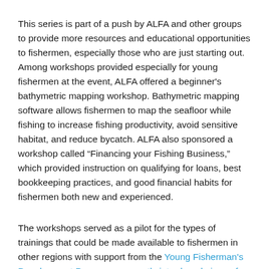This series is part of a push by ALFA and other groups to provide more resources and educational opportunities to fishermen, especially those who are just starting out. Among workshops provided especially for young fishermen at the event, ALFA offered a beginner's bathymetric mapping workshop. Bathymetric mapping software allows fishermen to map the seafloor while fishing to increase fishing productivity, avoid sensitive habitat, and reduce bycatch. ALFA also sponsored a workshop called “Financing your Fishing Business,” which provided instruction on qualifying for loans, best bookkeeping practices, and good financial habits for fishermen both new and experienced.
The workshops served as a pilot for the types of trainings that could be made available to fishermen in other regions with support from the Young Fisherman's Development Program, a recently introduced piece of legislation.